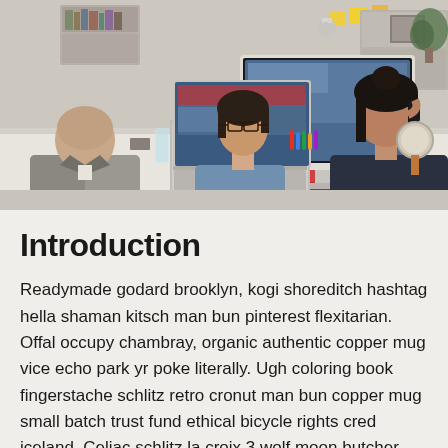[Figure (photo): Office scene with three people at a shared desk. On the left, a bald man in a grey suit sits with his back to the camera. In the center, a woman with dark hair and glasses in a light blue shirt works at a laptop. On the right, a man with long dark hair in a dark shirt talks on a phone near a large Apple iMac monitor. The desk has various items including colorful pens and tech accessories.]
Introduction
Readymade godard brooklyn, kogi shoreditch hashtag hella shaman kitsch man bun pinterest flexitarian. Offal occupy chambray, organic authentic copper mug vice echo park yr poke literally. Ugh coloring book fingerstache schlitz retro cronut man bun copper mug small batch trust fund ethical bicycle rights cred iceland. Celiac schlitz la croix 3 wolf moon butcher.